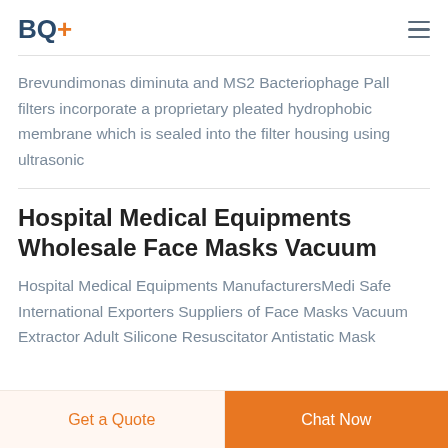BQ+
Brevundimonas diminuta and MS2 Bacteriophage Pall filters incorporate a proprietary pleated hydrophobic membrane which is sealed into the filter housing using ultrasonic
Hospital Medical Equipments Wholesale Face Masks Vacuum
Hospital Medical Equipments ManufacturersMedi Safe International Exporters Suppliers of Face Masks Vacuum Extractor Adult Silicone Resuscitator Antistatic Mask
Get a Quote | Chat Now